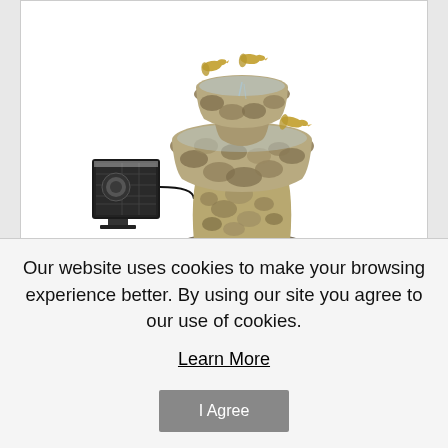[Figure (photo): A two-tiered stone birdbath solar water fountain with bird figurines perched on the edges, and a separate solar panel unit shown to the left side]
Wishing Well Solar Water Fountain
Our website uses cookies to make your browsing experience better. By using our site you agree to our use of cookies.
Learn More
I Agree